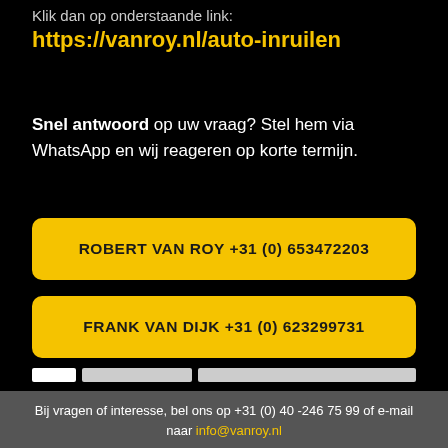Klik dan op onderstaande link:
https://vanroy.nl/auto-inruilen
Snel antwoord op uw vraag? Stel hem via WhatsApp en wij reageren op korte termijn.
ROBERT VAN ROY +31 (0) 653472203
FRANK VAN DIJK +31 (0) 623299731
Bij vragen of interesse, bel ons op +31 (0) 40 -246 75 99 of e-mail naar info@vanroy.nl